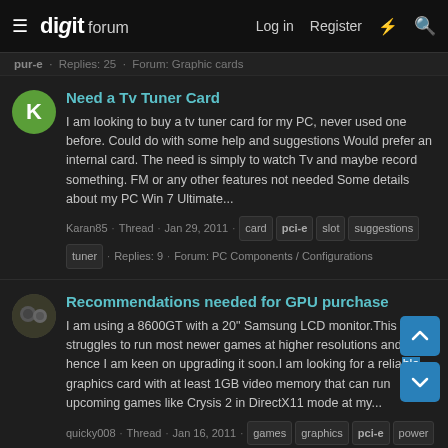digit forum — Log in | Register
pur-e · Replies: 25 · Forum: Graphic cards
Need a Tv Tuner Card
I am looking to buy a tv tuner card for my PC, never used one before. Could do with some help and suggestions Would prefer an internal card. The need is simply to watch Tv and maybe record something. FM or any other features not needed Some details about my PC Win 7 Ultimate...
Karan85 · Thread · Jan 29, 2011 · card  pci-e  slot  suggestions  tuner · Replies: 9 · Forum: PC Components / Configurations
Recommendations needed for GPU purchase
I am using a 8600GT with a 20" Samsung LCD monitor.This GPU struggles to run most newer games at higher resolutions and hence I am keen on upgrading it soon.I am looking for a reliable graphics card with at least 1GB video memory that can run upcoming games like Crysis 2 in DirectX11 mode at my...
quicky008 · Thread · Jan 16, 2011 · games  graphics  pci-e  power  run · Replies: 32 · Forum: PC Components /